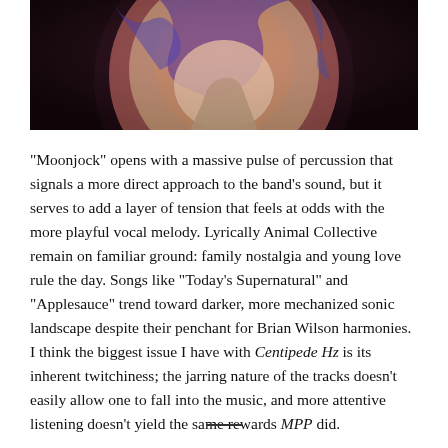[Figure (photo): Album artwork photo showing a colorful circular design with blue, red, and purple hues against a dark background]
“Moonjock” opens with a massive pulse of percussion that signals a more direct approach to the band’s sound, but it serves to add a layer of tension that feels at odds with the more playful vocal melody.  Lyrically Animal Collective remain on familiar ground: family nostalgia and young love rule the day.  Songs like “Today’s Supernatural” and “Applesauce” trend toward darker, more mechanized sonic landscape despite their penchant for Brian Wilson harmonies.  I think the biggest issue I have with Centipede Hz is its inherent twitchiness; the jarring nature of the tracks doesn’t easily allow one to fall into the music, and more attentive listening doesn’t yield the same rewards MPP did.